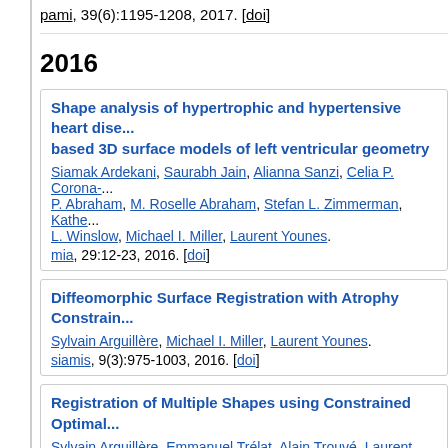pami, 39(6):1195-1208, 2017. [doi]
2016
Shape analysis of hypertrophic and hypertensive heart dise... based 3D surface models of left ventricular geometry. Siamak Ardekani, Saurabh Jain, Alianna Sanzi, Celia P. Corona-... P. Abraham, M. Roselle Abraham, Stefan L. Zimmerman, Kathe... L. Winslow, Michael I. Miller, Laurent Younes. mia, 29:12-23, 2016. [doi]
Diffeomorphic Surface Registration with Atrophy Constrain... Sylvain Arguillère, Michael I. Miller, Laurent Younes. siamis, 9(3):975-1003, 2016. [doi]
Registration of Multiple Shapes using Constrained Optimal... Sylvain Arguillère, Emmanuel Trélat, Alain Trouvé, Laurent Youn... siamis, 9(1):344-385, 2016. [doi]